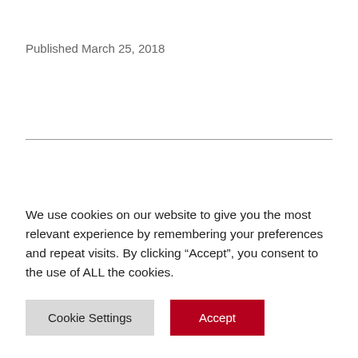Published March 25, 2018
Hyperlink: 2 Ways of How
We use cookies on our website to give you the most relevant experience by remembering your preferences and repeat visits. By clicking “Accept”, you consent to the use of ALL the cookies.